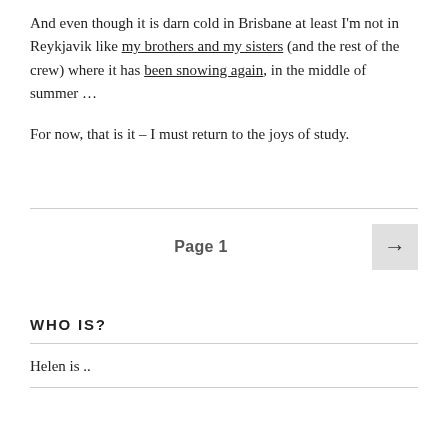And even though it is darn cold in Brisbane at least I'm not in Reykjavik like my brothers and my sisters (and the rest of the crew) where it has been snowing again, in the middle of summer …
For now, that is it – I must return to the joys of study.
Page 1 →
WHO IS?
Helen is ..